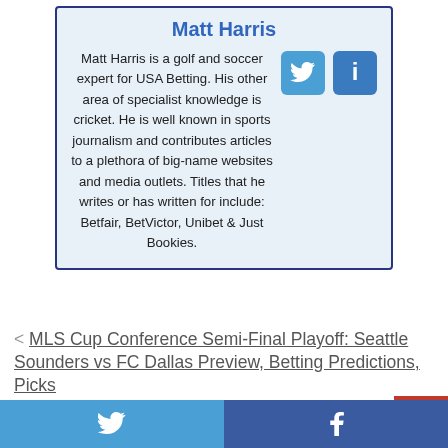Matt Harris
Matt Harris is a golf and soccer expert for USA Betting. His other area of specialist knowledge is cricket. He is well known in sports journalism and contributes articles to a plethora of big-name websites and media outlets. Titles that he writes or has written for include: Betfair, BetVictor, Unibet & Just Bookies.
< MLS Cup Conference Semi-Final Playoff: Seattle Sounders vs FC Dallas Preview, Betting Predictions, Picks
> Champions League: Borussia Dortmund vs Lazio Preview, Predictions, Betting Pic...
Twitter | Facebook